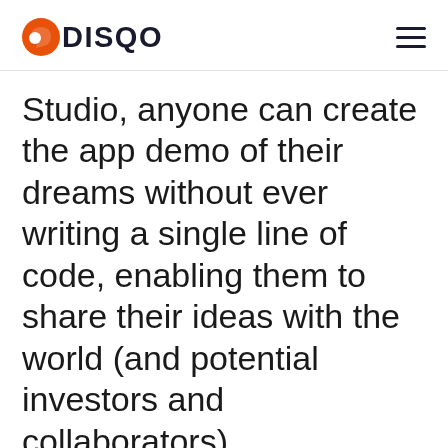DISQO
Studio, anyone can create the app demo of their dreams without ever writing a single line of code, enabling them to share their ideas with the world (and potential investors and collaborators).
By clicking "Accept All Cookies", you agree to the storing of cookies on your device to enhance site navigation, analyze site usage, and assist in our marketing efforts.
Cookies Settings | Accept All Cookies